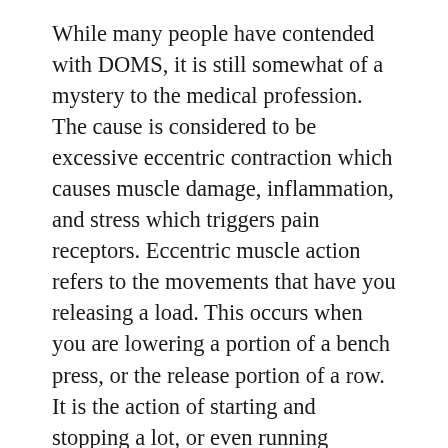While many people have contended with DOMS, it is still somewhat of a mystery to the medical profession. The cause is considered to be excessive eccentric contraction which causes muscle damage, inflammation, and stress which triggers pain receptors. Eccentric muscle action refers to the movements that have you releasing a load. This occurs when you are lowering a portion of a bench press, or the release portion of a row. It is the action of starting and stopping a lot, or even running downhill.
Delayed onset muscle soreness is not as damaging as it may sound. It doesn’t even mean that you totally overdid the workout.